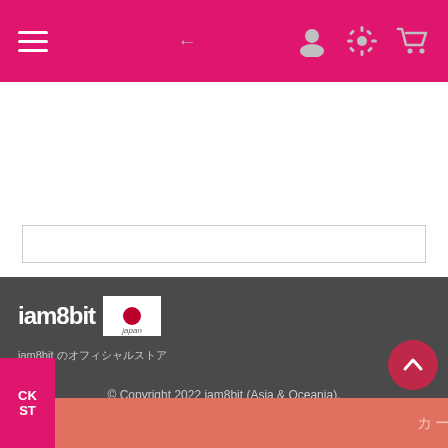[Figure (screenshot): Top navigation bar with hamburger menu, back arrow, user icon, settings icon, and shopping cart icon on a pink/magenta background]
[Figure (screenshot): White content area with an empty search input box]
[Figure (logo): iam8bit japan logo with Japanese flag on dark grey footer background]
iam8bit のオフィシャルストア
© Copyright 2022 iam8bit (Asia & Oceania).
Shopify にて構築
[Figure (screenshot): Bottom salmon/coral button with Japanese text and a scroll-to-top circular button]